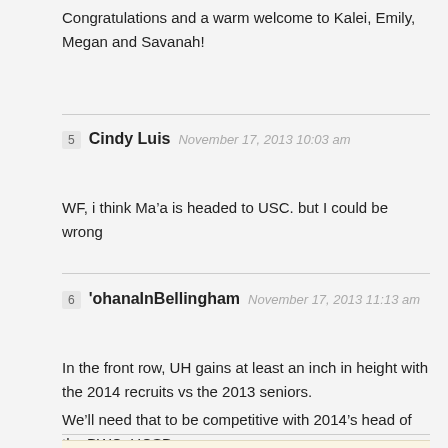Congratulations and a warm welcome to Kalei, Emily, Megan and Savanah!
5  Cindy Luis  November 17, 2013 10:03 am
WF, i think Ma’a is headed to USC. but I could be wrong
6  'ohanaInBellingham  November 17, 2013 11:13 am
In the front row, UH gains at least an inch in height with the 2014 recruits vs the 2013 seniors.

We’ll need that to be competitive with 2014’s head of the BWC, UCSB.